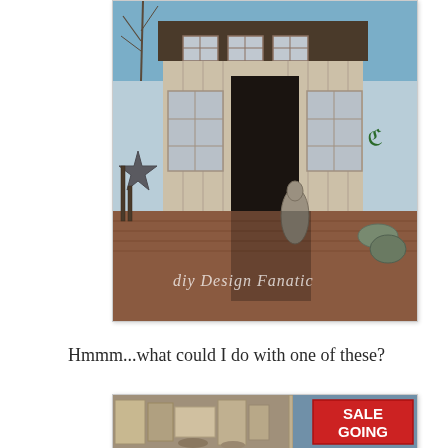[Figure (photo): A rustic old building or shed/shop with weathered white wooden siding, multiple old windows, an open front entrance with decorative items and statues outside. A watermark reads 'diy Design Fanatic'.]
Hmmm...what could I do with one of these?
[Figure (photo): A partially visible photo showing outdoor items for sale, with a red 'SALE GOING' sign visible on the right side.]